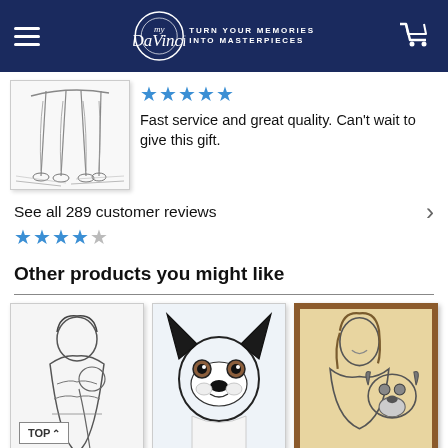myDaVinci — TURN YOUR MEMORIES INTO MASTERPIECES
[Figure (illustration): Pencil sketch of a dog's legs and paws sitting on a surface]
★★★★★
Fast service and great quality. Can't wait to give this gift.
See all 289 customer reviews ›
★★★★☆
Other products you might like
[Figure (illustration): Black and white pencil portrait of a woman holding a baby]
[Figure (illustration): Watercolor-style portrait of a black and white Boston Terrier dog]
[Figure (illustration): Framed pencil sketch of a woman with a pug dog, brown wooden frame]